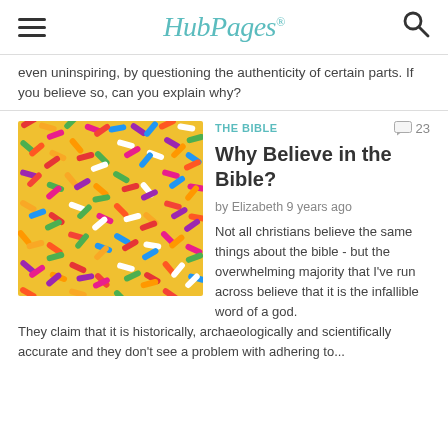HubPages
even uninspiring, by questioning the authenticity of certain parts. If you believe so, can you explain why?
[Figure (photo): Close-up photo of colorful candy sprinkles in various colors including red, pink, yellow, green, blue, purple, and white]
THE BIBLE
Why Believe in the Bible?
by Elizabeth 9 years ago
Not all christians believe the same things about the bible - but the overwhelming majority that I've run across believe that it is the infallible word of a god.  They claim that it is historically, archaeologically and scientifically accurate and they don't see a problem with adhering to...